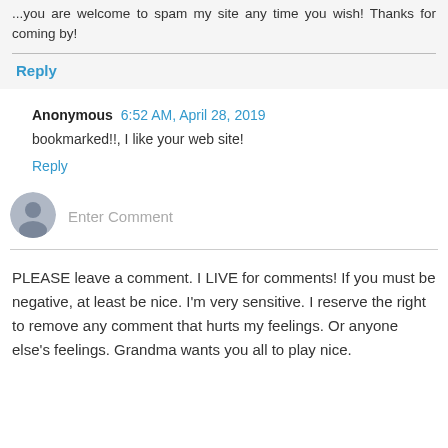...you are welcome to spam my site any time you wish! Thanks for coming by!
Reply
Anonymous 6:52 AM, April 28, 2019
bookmarked!!, I like your web site!
Reply
[Figure (other): User avatar placeholder icon for comment input area]
Enter Comment
PLEASE leave a comment. I LIVE for comments! If you must be negative, at least be nice. I'm very sensitive. I reserve the right to remove any comment that hurts my feelings. Or anyone else's feelings. Grandma wants you all to play nice.